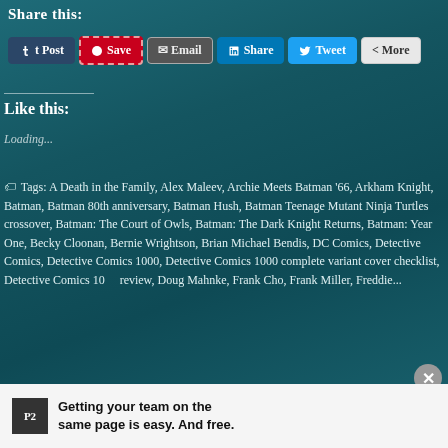Share this:
[Figure (screenshot): Social sharing buttons: Post (Tumblr), Save (Pinterest), Email, Share (LinkedIn), Tweet (Twitter), More]
Like this:
Loading...
Tags: A Death in the Family, Alex Maleev, Archie Meets Batman '66, Arkham Knight, Batman, Batman 80th anniversary, Batman Hush, Batman Teenage Mutant Ninja Turtles crossover, Batman: The Court of Owls, Batman: The Dark Knight Returns, Batman: Year One, Becky Cloonan, Bernie Wrightson, Brian Michael Bendis, DC Comics, Detective Comics, Detective Comics 1000, Detective Comics 1000 complete variant cover checklist, Detective Comics 1000 review, Doug Mahnke, Frank Cho, Frank Miller, Freddie...
Getting your team on the same page is easy. And free.